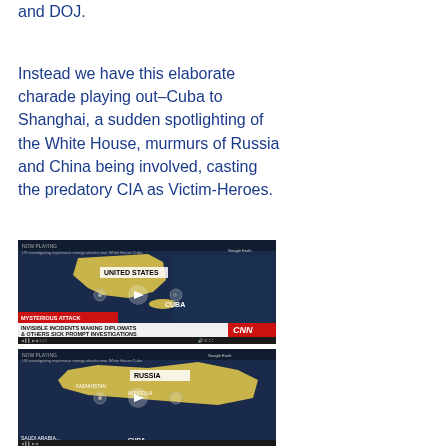and DOJ.
Instead we have this elaborate charade playing out–Cuba to Shanghai, a sudden spotlighting of the White House, murmurs of Russia and China being involved, casting the predatory CIA as Victim-Heroes.
[Figure (screenshot): Two CNN news video screenshots showing world maps. Top map highlights United States and Cuba with 'MYSTERIOUS ATTACK' chyron: 'INVISIBLE INCIDENTS MAKING DIPLOMATS & OTHERS SICK PROMPT INVESTIGATIONS'. Bottom map highlights Russia area. Both have play buttons.]